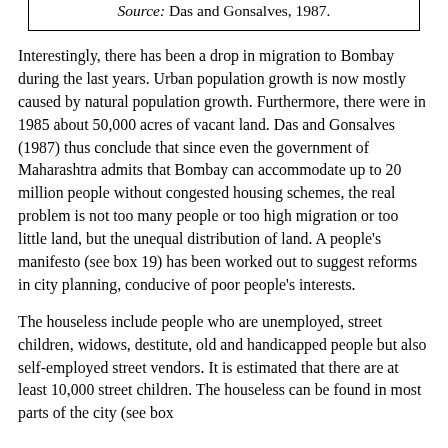Source: Das and Gonsalves, 1987.
Interestingly, there has been a drop in migration to Bombay during the last years. Urban population growth is now mostly caused by natural population growth. Furthermore, there were in 1985 about 50,000 acres of vacant land. Das and Gonsalves (1987) thus conclude that since even the government of Maharashtra admits that Bombay can accommodate up to 20 million people without congested housing schemes, the real problem is not too many people or too high migration or too little land, but the unequal distribution of land. A people's manifesto (see box 19) has been worked out to suggest reforms in city planning, conducive of poor people's interests.
The houseless include people who are unemployed, street children, widows, destitute, old and handicapped people but also self-employed street vendors. It is estimated that there are at least 10,000 street children. The houseless can be found in most parts of the city (see box